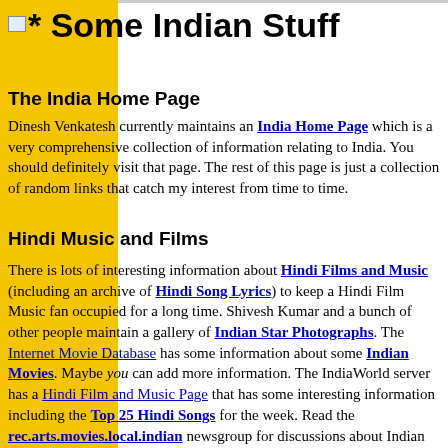* Some Indian Stuff
The India Home Page
Dinesh Venkatesh currently maintains an India Home Page which is a very comprehensive collection of information relating to India. You should definitely visit that page. The rest of this page is just a collection of random links that catch my interest from time to time.
Hindi Music and Films
There is lots of interesting information about Hindi Films and Music (including an archive of Hindi Song Lyrics) to keep a Hindi Film Music fan occupied for a long time. Shivesh Kumar and a bunch of other people maintain a gallery of Indian Star Photographs. The Internet Movie Database has some information about some Indian Movies. Maybe you can add more information. The IndiaWorld server has a Hindi Film and Music Page that has some interesting information including the Top 25 Hindi Songs for the week. Read the rec.arts.movies.local.indian newsgroup for discussions about Indian movies and the rec.music.indian.misc newsgroup for discussions about music.